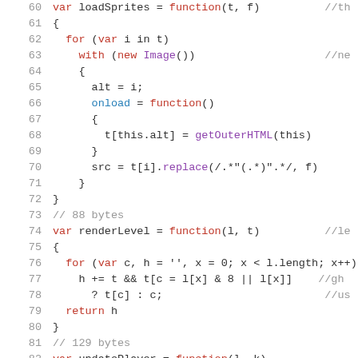60   var loadSprites = function(t, f)   //th
61   {
62     for (var i in t)
63       with (new Image())   //ne
64       {
65         alt = i;
66         onload = function()
67         {
68           t[this.alt] = getOuterHTML(this)
69         }
70         src = t[i].replace(/.*"(.*)".*/, f)
71       }
72   }
73   // 88 bytes
74   var renderLevel = function(l, t)   //le
75   {
76     for (var c, h = '', x = 0; x < l.length; x++)
77       h += t && t[c = l[x] & 8 || l[x]]   //gh
78         ? t[c] : c;   //us
79     return h
80   }
81   // 129 bytes
82   var updatePlayer = function(l, k)